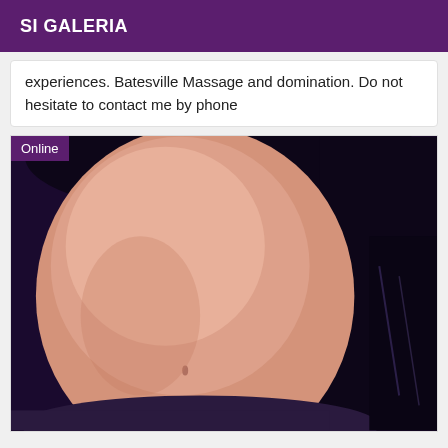SI GALERIA
experiences. Batesville Massage and domination. Do not hesitate to contact me by phone
[Figure (photo): Close-up photo of a person's torso/midsection against a dark background, with an 'Online' badge in the top-left corner]